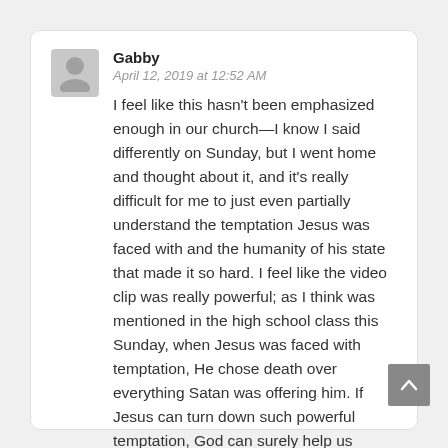Gabby
April 12, 2019 at 12:52 AM
I feel like this hasn't been emphasized enough in our church—I know I said differently on Sunday, but I went home and thought about it, and it's really difficult for me to just even partially understand the temptation Jesus was faced with and the humanity of his state that made it so hard. I feel like the video clip was really powerful; as I think was mentioned in the high school class this Sunday, when Jesus was faced with temptation, He chose death over everything Satan was offering him. If Jesus can turn down such powerful temptation, God can surely help us overcome considerably less powerful temptations.
Reply